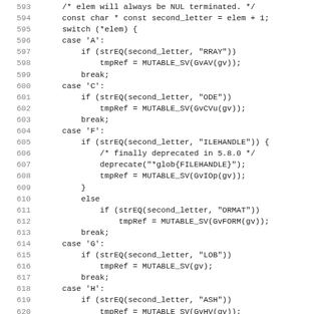[Figure (other): Source code listing in C, lines 593-625, showing a switch statement handling various case labels ('A', 'C', 'F', 'G', 'H', 'I') with string comparisons and MUTABLE_SV assignments.]